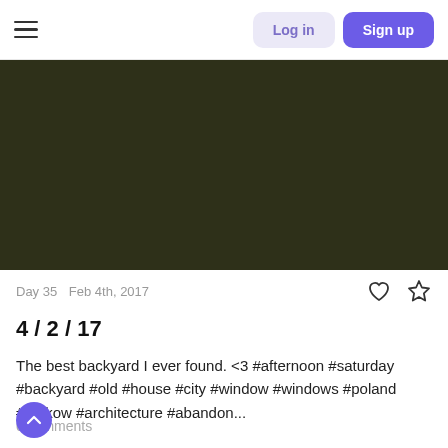Log in  Sign up
[Figure (photo): Dark olive/green-brown colored photograph area, appearing as a very dark backyard or architectural scene]
Day 35   Feb 4th, 2017
4 / 2 / 17
The best backyard I ever found. <3 #afternoon #saturday #backyard #old #house #city #window #windows #poland #krakow #architecture #abandon...
0 comments